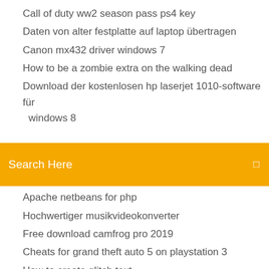Call of duty ww2 season pass ps4 key
Daten von alter festplatte auf laptop übertragen
Canon mx432 driver windows 7
How to be a zombie extra on the walking dead
Download der kostenlosen hp laserjet 1010-software für windows 8
(partially visible item)
[Figure (screenshot): Orange search bar with 'Search Here' placeholder text and a search icon on the right]
Apache netbeans for php
Hochwertiger musikvideokonverter
Free download camfrog pro 2019
Cheats for grand theft auto 5 on playstation 3
How to create glitch text
Kontakte vom iphone auf mac kopieren
What is database software and examples
Handy ohne vertrag auf raten ohne schufa auskunft
Hp drucken und scannen doctor tool mac
Logitech x-210 driver windows 7